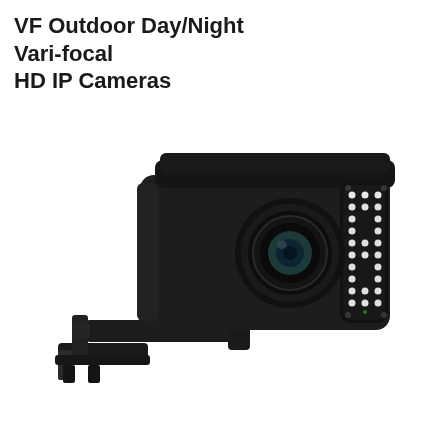VF Outdoor Day/Night Vari-focal HD IP Cameras
[Figure (photo): A black outdoor vari-focal HD IP bullet camera mounted on a wall bracket. The camera has a large rectangular front face with a ring of white IR LEDs surrounding a varifocal lens. The camera body is dark/black metal with a sun shield on top. It is mounted on an adjustable L-shaped black metal wall bracket.]